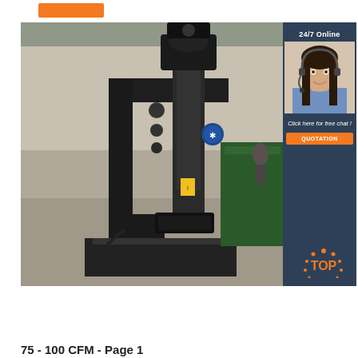[Figure (other): Orange rectangular button/label at top left, appears to be a navigation or category tag]
[Figure (photo): Industrial hammering or forging machine (power hammer) in a factory setting, painted black, with green equipment visible in background]
[Figure (other): Sidebar overlay with dark blue background showing '24/7 Online', a customer service agent photo, 'Click here for free chat!' text, and an orange QUOTATION button]
[Figure (other): Orange and white TOP badge/watermark in bottom right area of the main image]
75 - 100 CFM - Page 1